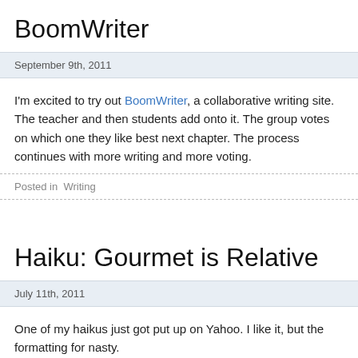BoomWriter
September 9th, 2011
I'm excited to try out BoomWriter, a collaborative writing site. The teacher and then students add onto it. The group votes on which one they like best next chapter. The process continues with more writing and more voting.
Posted in  Writing
Haiku: Gourmet is Relative
July 11th, 2011
One of my haikus just got put up on Yahoo. I like it, but the formatting for nasty.
Check it out here.